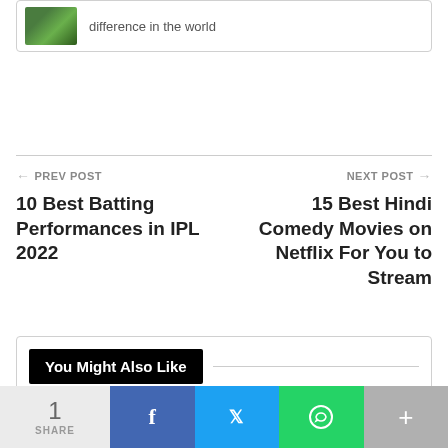[Figure (photo): Partial card with thumbnail of a nature/green scene and text 'difference in the world']
difference in the world
← PREV POST
10 Best Batting Performances in IPL 2022
NEXT POST →
15 Best Hindi Comedy Movies on Netflix For You to Stream
You Might Also Like
[Figure (photo): Thumbnail of a person on stage with blue lighting]
[Figure (photo): Thumbnail showing Kantara movie poster and another dark poster]
1 SHARE  [Facebook] [Twitter] [WhatsApp] [+]